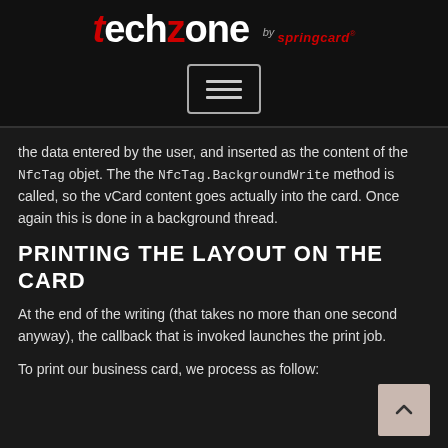[Figure (logo): TechZone by SpringCard logo on dark background]
[Figure (other): Hamburger menu button with three horizontal lines]
the data entered by the user, and inserted as the content of the NfcTag objet. The the NfcTag.BackgroundWrite method is called, so the vCard content goes actually into the card. Once again this is done in a background thread.
PRINTING THE LAYOUT ON THE CARD
At the end of the writing (that takes no more than one second anyway), the callback that is invoked launches the print job.
To print our business card, we process as follow: